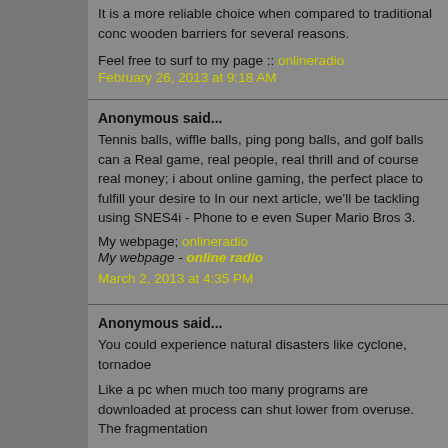It is a more reliable choice when compared to traditional conc wooden barriers for several reasons.
Feel free to surf to my page :: onlineradio
February 26, 2013 at 9:18 AM
Anonymous said...
Tennis balls, wiffle balls, ping pong balls, and golf balls can a Real game, real people, real thrill and of course real money; i about online gaming, the perfect place to fulfill your desire to In our next article, we'll be tackling using SNES4i - Phone to e even Super Mario Bros 3.
My webpage; onlineradio
My webpage - online radio
March 2, 2013 at 4:35 PM
Anonymous said...
You could experience natural disasters like cyclone, tornadoe
Like a pc when much too many programs are downloaded at process can shut lower from overuse. The fragmentation